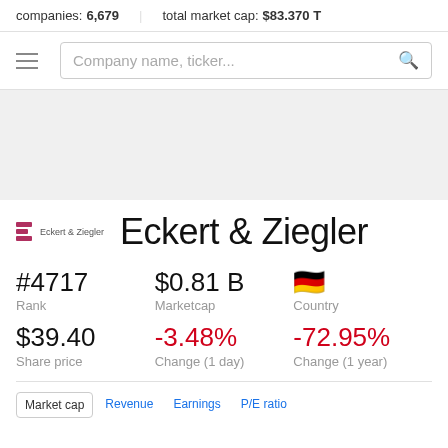companies: 6,679   total market cap: $83.370 T
Company name, ticker...
Eckert & Ziegler
#4717
Rank
$39.40
Share price
$0.81 B
Marketcap
-3.48%
Change (1 day)
🇩🇪
Country
-72.95%
Change (1 year)
Market cap   Revenue   Earnings   P/E ratio